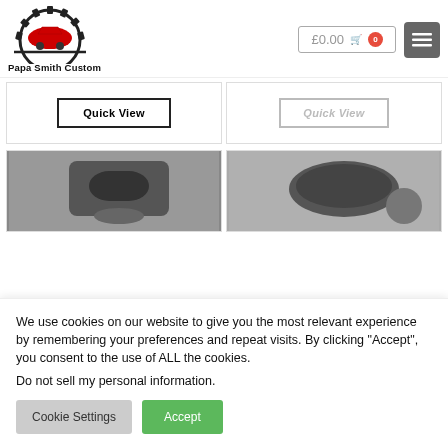[Figure (logo): Papa Smith Custom logo with gear and red car icon]
£0.00
[Figure (screenshot): Quick View button for first product card]
[Figure (screenshot): Quick View button (faded) for second product card]
[Figure (photo): Product photo - dark automotive part close-up]
[Figure (photo): Product photo - dark mouse or automotive accessory]
We use cookies on our website to give you the most relevant experience by remembering your preferences and repeat visits. By clicking “Accept”, you consent to the use of ALL the cookies.
Do not sell my personal information.